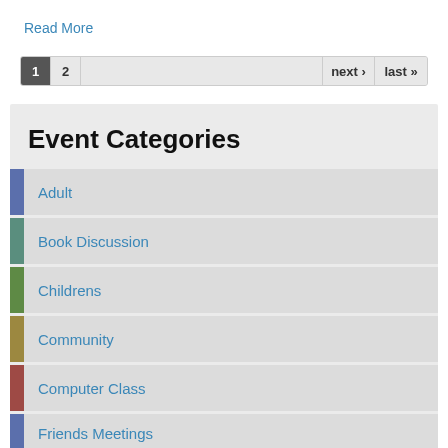Read More
1  2  next ›  last »
Event Categories
Adult
Book Discussion
Childrens
Community
Computer Class
Friends Meetings